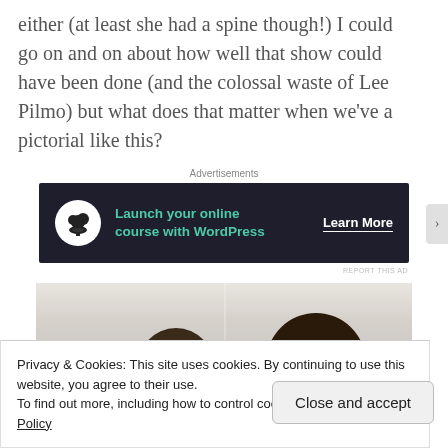either (at least she had a spine though!) I could go on and on about how well that show could have been done (and the colossal waste of Lee Pilmo) but what does that matter when we've a pictorial like this?
Advertisements
[Figure (screenshot): Advertisement banner: dark navy background with bonsai tree icon, green text 'Launch your online course with WordPress', and 'Learn More' button]
[Figure (photo): Photo showing the backs of two people's heads with dark hair, in an indoor setting]
Privacy & Cookies: This site uses cookies. By continuing to use this website, you agree to their use.
To find out more, including how to control cookies, see here: Cookie Policy
Close and accept